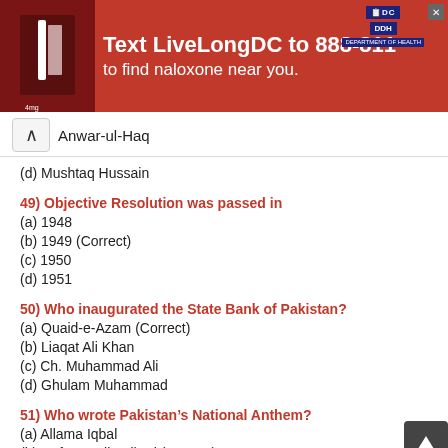[Figure (other): Red advertisement banner: Text LiveLongDC to 888-811 to find naloxone near you. Contains a photo of hands and official logos.]
Anwar-ul-Haq
(d) Mushtaq Hussain
49) Objective Resolution was passed in
(a) 1948
(b) 1949 (Correct)
(c) 1950
(d) 1951
50) Who inaugurated the State Bank of Pakistan?
(a) Quaid-e-Azam (Correct)
(b) Liaqat Ali Khan
(c) Ch. Muhammad Ali
(d) Ghulam Muhammad
51) Who wrote Pakistan’s National Anthem?
(a) Allama Iqbal
(b) Hafeez Jallandhari (Correct)